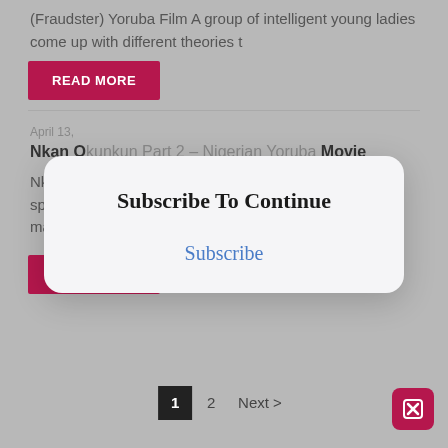(Fraudster) Yoruba Film A group of intelligent young ladies come up with different theories t
READ MORE
April 13,
Nkan Okunkun Part 2 – Nigerian Yoruba Movie
Nkan Okunkun Part 2 – Yoruba Movie. The vengeful spirits of some young ladies are out on a rampage. Any man who falls prey of their wrath
READ MORE
[Figure (screenshot): Subscribe To Continue modal dialog with 'Subscribe' link in blue, overlaid on the page content]
1  2  Next >
[Figure (other): Close button (X icon) in crimson/magenta square at bottom right]